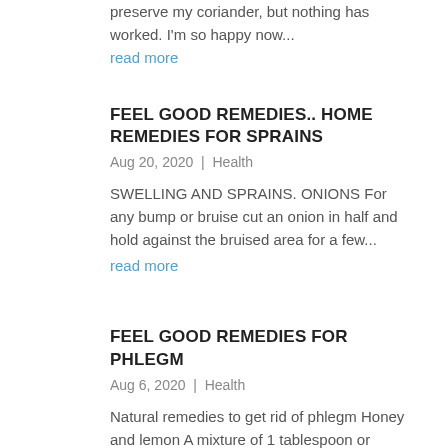preserve my coriander, but nothing has worked. I'm so happy now...
read more
FEEL GOOD REMEDIES.. HOME REMEDIES FOR SPRAINS
Aug 20, 2020 | Health
SWELLING AND SPRAINS. ONIONS For any bump or bruise cut an onion in half and hold against the bruised area for a few...
read more
FEEL GOOD REMEDIES FOR PHLEGM
Aug 6, 2020 | Health
Natural remedies to get rid of phlegm Honey and lemon A mixture of 1 tablespoon or organic honey